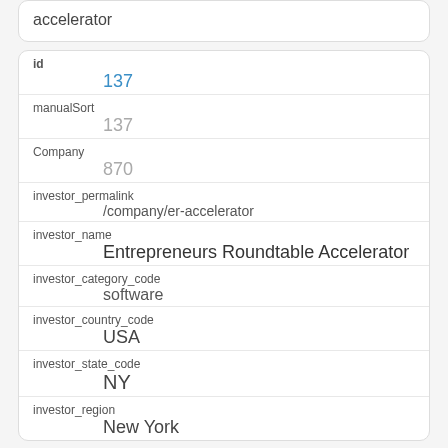accelerator
| id | 137 |
| manualSort | 137 |
| Company | 870 |
| investor_permalink | /company/er-accelerator |
| investor_name | Entrepreneurs Roundtable Accelerator |
| investor_category_code | software |
| investor_country_code | USA |
| investor_state_code | NY |
| investor_region | New York |